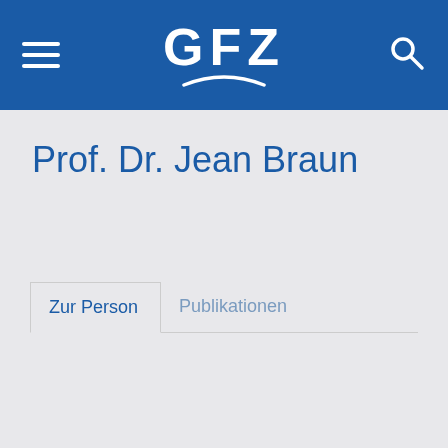GFZ
Prof. Dr. Jean Braun
Zur Person
Publikationen